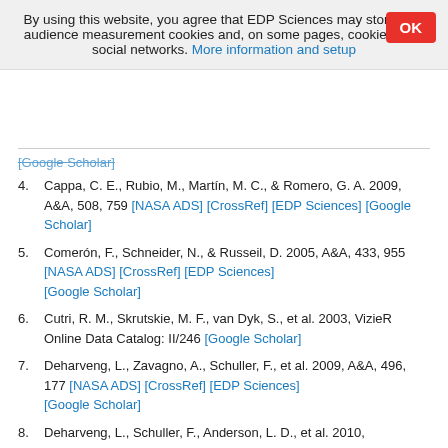By using this website, you agree that EDP Sciences may store web audience measurement cookies and, on some pages, cookies from social networks. More information and setup
[Google Scholar]
4. Cappa, C. E., Rubio, M., Martín, M. C., & Romero, G. A. 2009, A&A, 508, 759 [NASA ADS] [CrossRef] [EDP Sciences] [Google Scholar]
5. Comerón, F., Schneider, N., & Russeil, D. 2005, A&A, 433, 955 [NASA ADS] [CrossRef] [EDP Sciences] [Google Scholar]
6. Cutri, R. M., Skrutskie, M. F., van Dyk, S., et al. 2003, VizieR Online Data Catalog: II/246 [Google Scholar]
7. Deharveng, L., Zavagno, A., Schuller, F., et al. 2009, A&A, 496, 177 [NASA ADS] [CrossRef] [EDP Sciences] [Google Scholar]
8. Deharveng, L., Schuller, F., Anderson, L. D., et al. 2010,